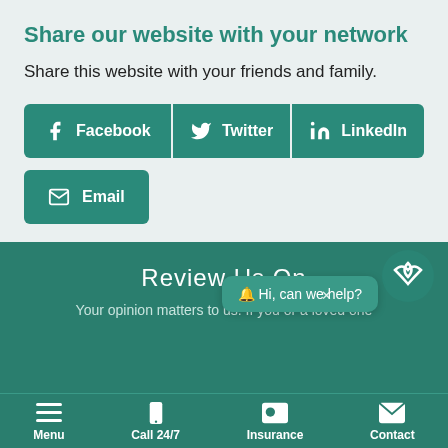Share our website with your network
Share this website with your friends and family.
[Figure (screenshot): Social sharing buttons row: Facebook, Twitter, LinkedIn]
[Figure (screenshot): Email sharing button]
Review Us On
Your opinion matters to us. If you or a loved one
[Figure (screenshot): Chat bubble: Hi, can we help? with close X and logo icon]
Menu | Call 24/7 | Insurance | Contact